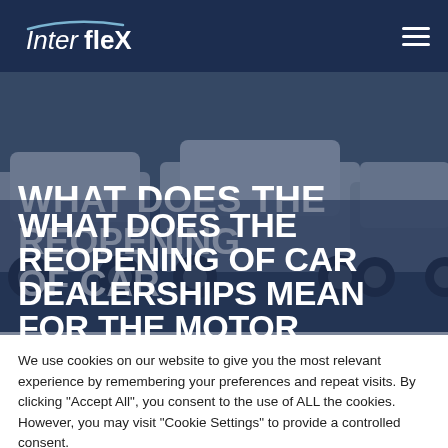InterFleX
[Figure (photo): Car dealership lot with multiple cars including white SUVs, with dark navy overlay]
WHAT DOES THE REOPENING OF CAR DEALERSHIPS MEAN FOR THE MOTOR INDUSTRY?
We use cookies on our website to give you the most relevant experience by remembering your preferences and repeat visits. By clicking "Accept All", you consent to the use of ALL the cookies. However, you may visit "Cookie Settings" to provide a controlled consent.
Cookie Settings | Accept All